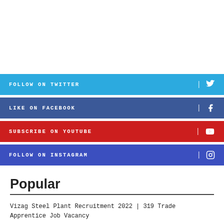[Figure (infographic): Social media follow buttons: Twitter (blue), Facebook (dark blue), YouTube (red), Instagram (blue-purple)]
Popular
Vizag Steel Plant Recruitment 2022 | 319 Trade Apprentice Job Vacancy
HAL Recruitment 2022 | 120 Apprenticeship Job Vacancy,